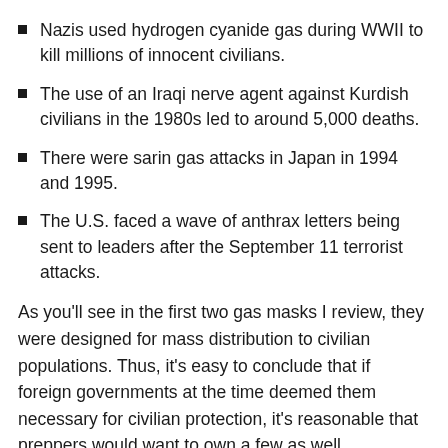Nazis used hydrogen cyanide gas during WWII to kill millions of innocent civilians.
The use of an Iraqi nerve agent against Kurdish civilians in the 1980s led to around 5,000 deaths.
There were sarin gas attacks in Japan in 1994 and 1995.
The U.S. faced a wave of anthrax letters being sent to leaders after the September 11 terrorist attacks.
As you’ll see in the first two gas masks I review, they were designed for mass distribution to civilian populations. Thus, it’s easy to conclude that if foreign governments at the time deemed them necessary for civilian protection, it’s reasonable that preppers would want to own a few as well.